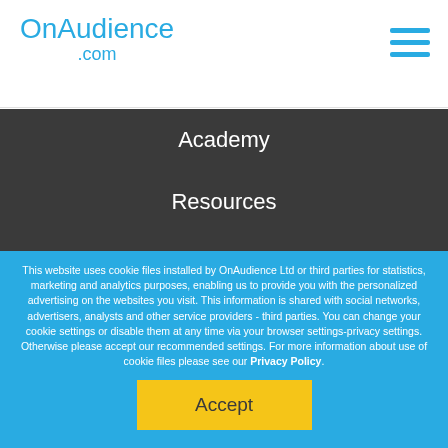OnAudience .com
Academy
Resources
Contact
Careers
This website uses cookie files installed by OnAudience Ltd or third parties for statistics, marketing and analytics purposes, enabling us to provide you with the personalized advertising on the websites you visit. This information is shared with social networks, advertisers, analysts and other service providers - third parties. You can change your cookie settings or disable them at any time via your browser settings-privacy settings. Otherwise please accept our recommended settings. For more information about use of cookie files please see our Privacy Policy.
Accept